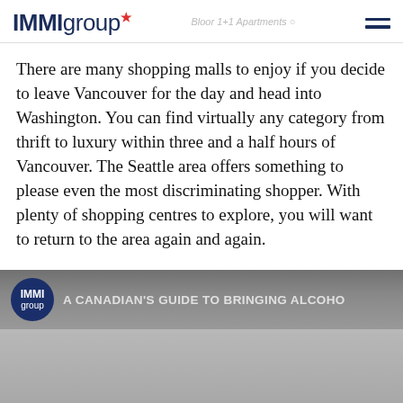IMMIgroup
There are many shopping malls to enjoy if you decide to leave Vancouver for the day and head into Washington. You can find virtually any category from thrift to luxury within three and a half hours of Vancouver. The Seattle area offers something to please even the most discriminating shopper. With plenty of shopping centres to explore, you will want to return to the area again and again.
[Figure (screenshot): IMIMgroup video thumbnail with dark banner showing 'A CANADIAN'S GUIDE TO BRINGING ALCOHO...' text and IMIMgroup circular logo on left]